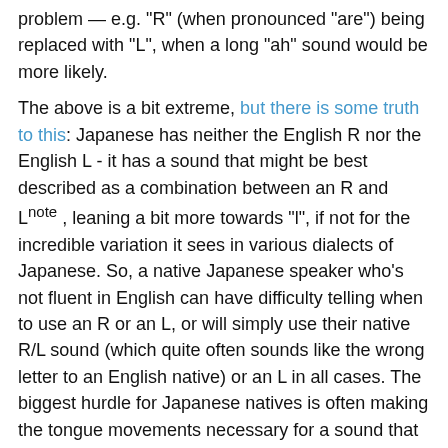problem — e.g. "R" (when pronounced "are") being replaced with "L", when a long "ah" sound would be more likely.
The above is a bit extreme, but there is some truth to this: Japanese has neither the English R nor the English L - it has a sound that might be best described as a combination between an R and L^note , leaning a bit more towards "l", if not for the incredible variation it sees in various dialects of Japanese. So, a native Japanese speaker who's not fluent in English can have difficulty telling when to use an R or an L, or will simply use their native R/L sound (which quite often sounds like the wrong letter to an English native) or an L in all cases. The biggest hurdle for Japanese natives is often making the tongue movements necessary for a sound that simply doesn't exist in their native language (equivalent foreign phonemes that English speakers struggle with are things like French 'r'^note , or Welsh 'll' ^note ). The same is true of Korean - it has Rs and Ls, but these are different allophones of the same phoneme, which is pronounced as ...